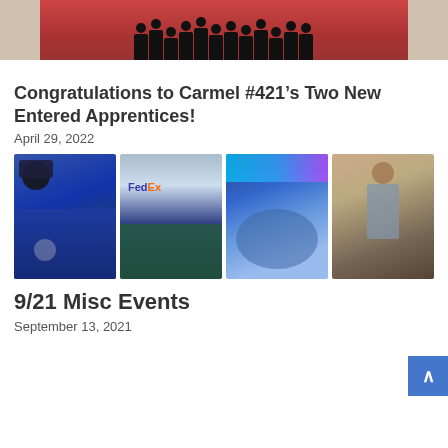[Figure (photo): Top of page: group photo of people standing in a row on a red carpet, partially cropped, showing legs and lower bodies]
Congratulations to Carmel #421’s Two New Entered Apprentices!
April 29, 2022
[Figure (photo): Grid of four photos: 1) Man in blue Masonic t-shirt and hat with sunglasses outdoors; 2) Group of people in green shirts holding signs in front of FedEx truck; 3) Close-up selfie of smiling man with blue light in background; 4) Older man standing in casual clothing indoors]
9/21 Misc Events
September 13, 2021